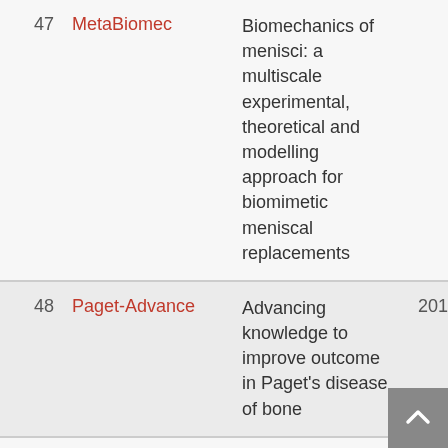| # | Project | Description | Year |
| --- | --- | --- | --- |
| 47 | MetaBiomec | Biomechanics of menisci: a multiscale experimental, theoretical and modelling approach for biomimetic meniscal replacements | 2018 |
| 48 | Paget-Advance | Advancing knowledge to improve outcome in Paget's disease of bone | 2018 |
| 49 | CellTrainer | Low Cost Real-time Multi-Physics Virtual Reality Training System For In-vitro Fertilisation Microinjection Tasks | 2018 |
| 50 | STINTS | Skin Tissue INTegrity | 2019 |